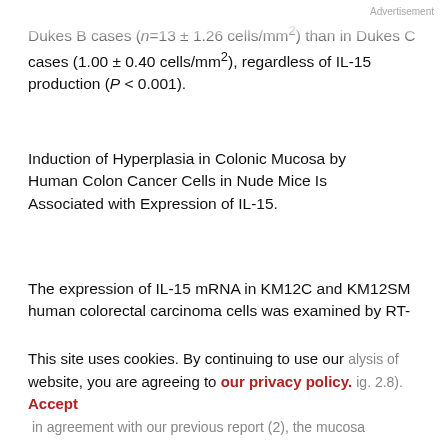Advertisement
Dukes B cases (n=13 ± 1.26 cells/mm²) than in Dukes C cases (1.00 ± 0.40 cells/mm²), regardless of IL-15 production (P < 0.001).
Induction of Hyperplasia in Colonic Mucosa by Human Colon Cancer Cells in Nude Mice Is Associated with Expression of IL-15.
The expression of IL-15 mRNA in KM12C and KM12SM human colorectal carcinoma cells was examined by RT-
This site uses cookies. By continuing to use our website, you are agreeing to our privacy policy. Accept
alysis of (Fig. 2.8). in agreement with our previous report (2), the mucosa